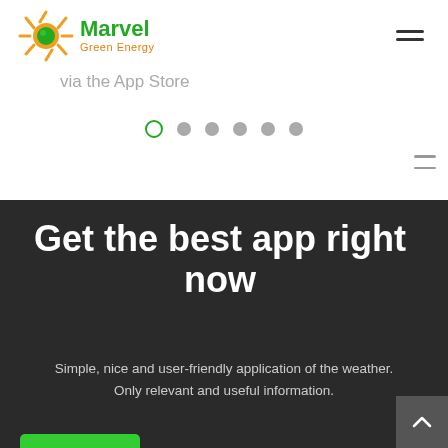[Figure (logo): Marvel Green Energy logo with orange sun icon, green 'Marvel' text, and orange 'Green Energy' subtext]
via the App Store
[Figure (other): Carousel pagination dots — 6 dots, first one active (green outline), rest gray]
Get the best app right now
Simple, nice and user-friendly application of the weather. Only relevant and useful information.